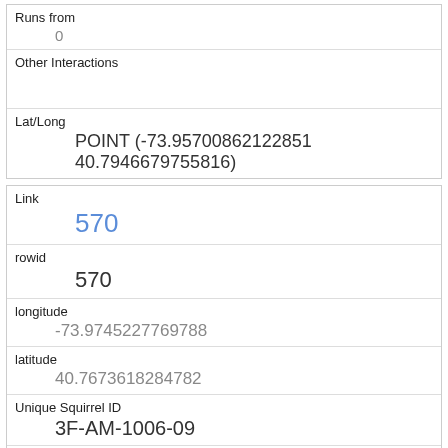| Runs from | 0 |
| Other Interactions |  |
| Lat/Long | POINT (-73.95700862122851 40.7946679755816) |
| Link | 570 |
| rowid | 570 |
| longitude | -73.9745227769788 |
| latitude | 40.7673618284782 |
| Unique Squirrel ID | 3F-AM-1006-09 |
| Hectare | 03F |
| Shift | AM |